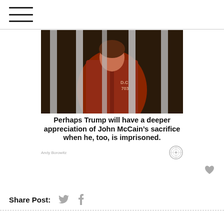Menu (hamburger icon)
[Figure (photo): Person in orange/red jacket behind prison bars, with text on jacket reading D.C. 703]
Perhaps Trump will have a deeper appreciation of John McCain’s sacrifice when he, too, is imprisoned.
Andy Borowitz
Share Post: